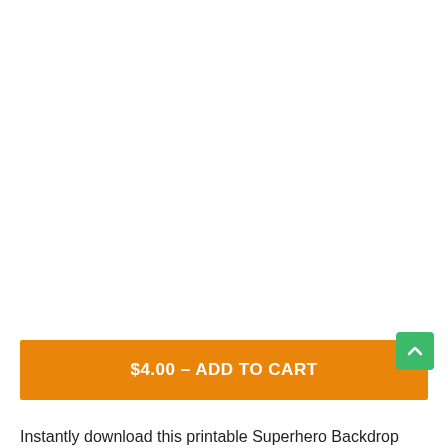[Figure (other): White blank area (product image area, content not visible)]
$4.00 – ADD TO CART
Instantly download this printable Superhero Backdrop